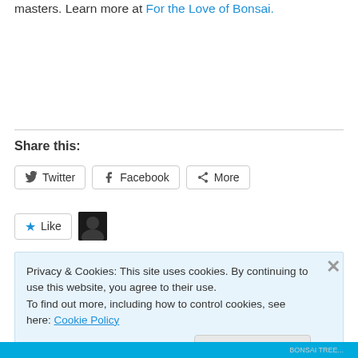masters. Learn more at For the Love of Bonsai.
Share this:
Twitter  Facebook  More
Like
Privacy & Cookies: This site uses cookies. By continuing to use this website, you agree to their use.
To find out more, including how to control cookies, see here: Cookie Policy
Close and accept